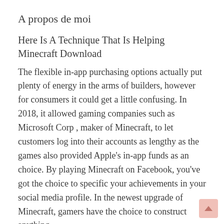A propos de moi
Here Is A Technique That Is Helping Minecraft Download
The flexible in-app purchasing options actually put plenty of energy in the arms of builders, however for consumers it could get a little confusing. In 2018, it allowed gaming companies such as Microsoft Corp , maker of Minecraft, to let customers log into their accounts as lengthy as the games also provided Apple's in-app funds as an choice. By playing Minecraft on Facebook, you've got the choice to specific your achievements in your social media profile. In the newest upgrade of Minecraft, gamers have the choice to construct anything